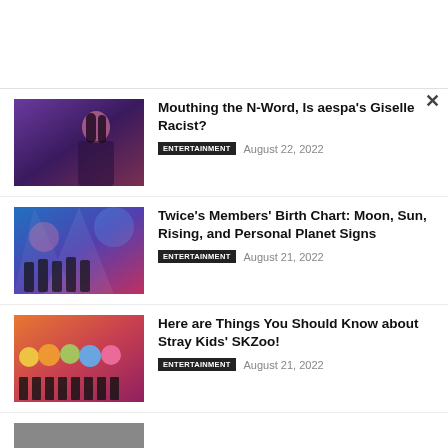[Figure (photo): Article thumbnail: aespa Giselle photo with purple/dark background]
Mouthing the N-Word, Is aespa's Giselle Racist?
ENTERTAINMENT   August 22, 2022
[Figure (photo): Article thumbnail: Twice group photo with colorful background]
Twice's Members' Birth Chart: Moon, Sun, Rising, and Personal Planet Signs
ENTERTAINMENT   August 21, 2022
[Figure (photo): Article thumbnail: Stray Kids SKZoo characters with members]
Here are Things You Should Know about Stray Kids' SKZoo!
ENTERTAINMENT   August 21, 2022